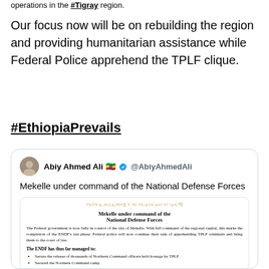operations in the #Tigray region.
Our focus now will be on rebuilding the region and providing humanitarian assistance while Federal Police apprehend the TPLF clique.
#EthiopiaPrevails
[Figure (screenshot): Tweet by Abiy Ahmed Ali (@AbiyAhmedAli) with Ethiopian flag and verified badge emojis. Tweet text: 'Mekelle under command of the National Defense Forces'. Embedded image shows an official government document titled 'Mekelle under command of the National Defense Forces' with Amharic header in gold, body text about federal government control of Mekelle, and a list beginning with 'The ENDF has thus far managed to:' including bullet points about securing Northern Command officers and the Northern Command camp.]